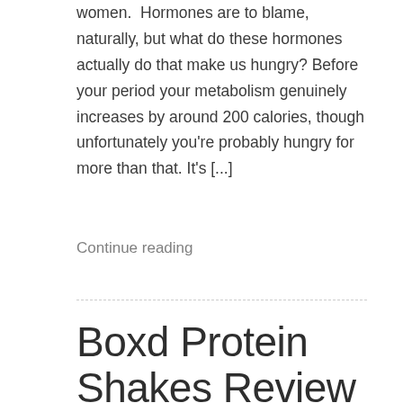women. Hormones are to blame, naturally, but what do these hormones actually do that make us hungry? Before your period your metabolism genuinely increases by around 200 calories, though unfortunately you're probably hungry for more than that. It's [...]
Continue reading
Boxd Protein Shakes Review